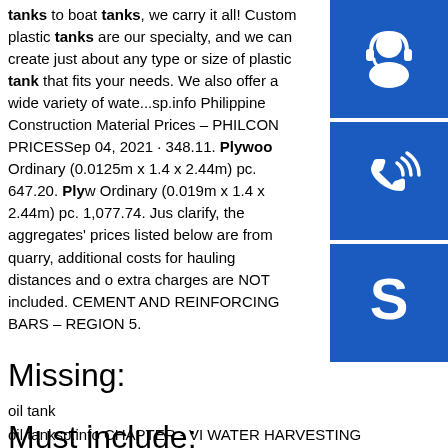tanks to boat tanks, we carry it all! Custom plastic tanks are our specialty, and we can create just about any type or size of plastic tank that fits your needs. We also offer a wide variety of wate ...sp.info Philippine Construction Material Prices – PHILCON PRICESSep 04, 2021 · 348.11. Plywood Ordinary (0.0125m x 1.4 x 2.44m) pc. 647.20. Plyw Ordinary (0.019m x 1.4 x 2.44m) pc. 1,077.74. Jus clarify, the aggregates' prices listed below are from quarry, additional costs for hauling distances and o extra charges are NOT included. CEMENT AND REINFORCING BARS – REGION 5.
[Figure (illustration): Three blue square icons on the right sidebar: headset/support icon, phone with signal icon, and Skype logo icon]
Missing:
oil tank
Must include:
oil tanksp.info CHAPTER - VI WATER HARVESTING STRUCTURES ...The underground tank may be